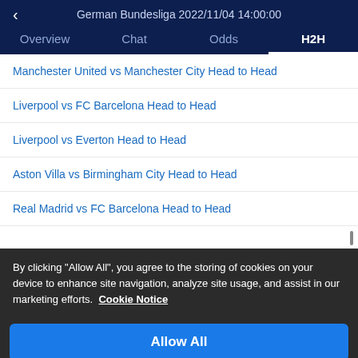< German Bundesliga 2022/11/04 14:00:00
Overview  Chat  Odds  H2H
Manchester United vs Manchester City Head to Head
Liverpool vs FC Barcelona Head to Head
Liverpool vs Everton Head to Head
Aston Villa vs Birmingham City Head to Head
Real Madrid vs FC Barcelona Head to Head
By clicking "Allow All", you agree to the storing of cookies on your device to enhance site navigation, analyze site usage, and assist in our marketing efforts.  Cookie Notice
Allow All
Customize Settings